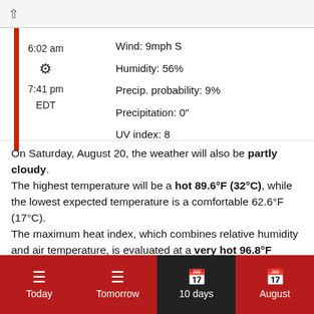Wind: 9mph S
Humidity: 56%
Precip. probability: 9%
Precipitation: 0"
UV index: 8
6:02 am
☀
7:41 pm
EDT
On Saturday, August 20, the weather will also be partly cloudy. The highest temperature will be a hot 89.6°F (32°C), while the lowest expected temperature is a comfortable 62.6°F (17°C). The maximum heat index, which combines relative humidity and air temperature, is evaluated at a very hot 96.8°F (36°C). Note that heat index values are valued for light wind and location in the shade. Bear
Today | Tomorrow | 10 days | August